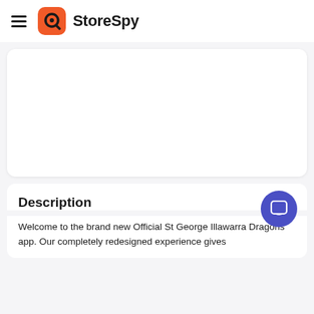StoreSpy
[Figure (other): Empty white content card area]
Description
Welcome to the brand new Official St George Illawarra Dragons app. Our completely redesigned experience gives